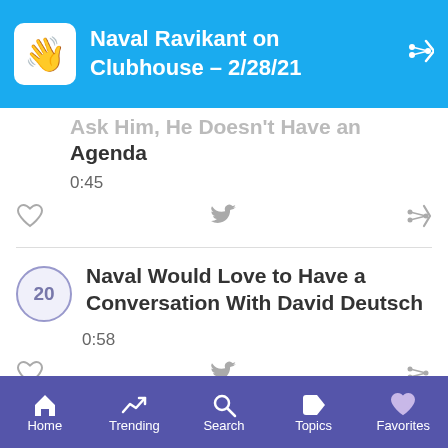Naval Ravikant on Clubhouse - 2/28/21
Ask Him, He Doesn't Have an Agenda
0:45
Naval Would Love to Have a Conversation With David Deutsch
0:58
Home  Trending  Search  Topics  Favorites